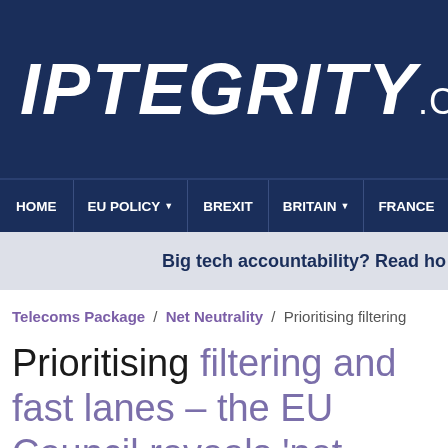[Figure (logo): IPTEGRITY.COM logo in white italic bold text on dark navy blue background]
HOME | EU POLICY | BREXIT | BRITAIN | FRANCE
Big tech accountability? Read ho
Telecoms Package / Net Neutrality / Prioritising filtering
Prioritising filtering and fast lanes – the EU Council reveals 'net neutrality' mandate